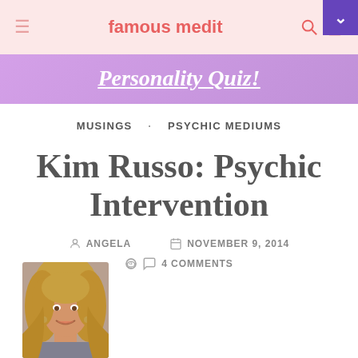famous medit
[Figure (illustration): Purple banner with Personality Quiz! text in white bold italic underlined font]
MUSINGS   PSYCHIC MEDIUMS
Kim Russo: Psychic Intervention
ANGELA   NOVEMBER 9, 2014   4 COMMENTS
[Figure (photo): Photo of a woman with blonde hair, smiling, wearing earrings]